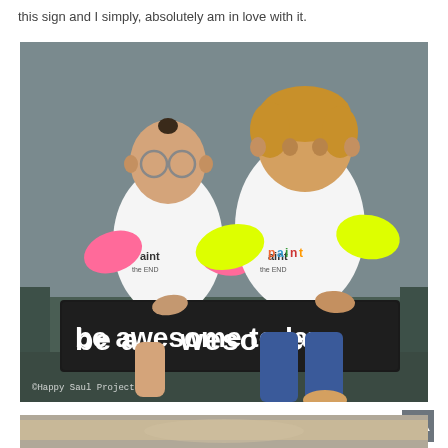this sign and I simply, absolutely am in love with it.
[Figure (photo): Two young toddlers sitting on a bench/couch. The smaller child on the left is wearing round glasses and a pink-sleeved raglan shirt reading 'aint the END'. The taller child on the right wears a yellow-sleeved raglan shirt reading 'aint the END'. Both children are holding a large black sign that reads 'be awesome today'. A watermark at bottom left reads '©Happy Saul Project'.]
[Figure (photo): Partial view of a second photo partially visible at the bottom of the page.]